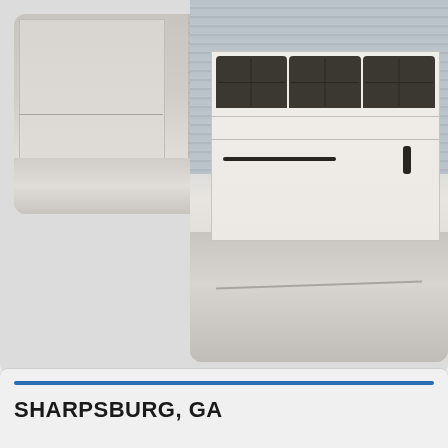[Figure (photo): Small photo of a white garage door with horizontal panels, showing part of the driveway and siding]
[Figure (photo): Large photo of a white carriage-style garage door with arched windows, black hardware handles and hinges, light blue lap siding, and concrete driveway]
SHARPSBURG, GA